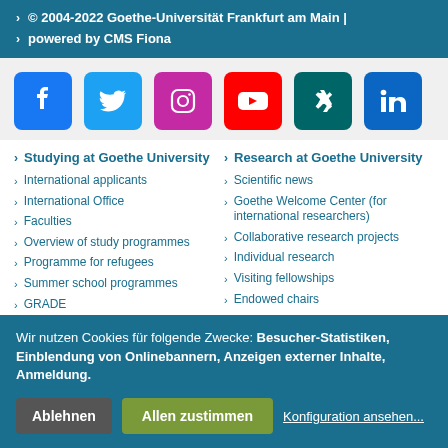© 2004-2022 Goethe-Universität Frankfurt am Main |
powered by CMS Fiona
[Figure (other): Social media icons: Facebook, Twitter, Instagram, YouTube, Xing, LinkedIn]
Studying at Goethe University
Research at Goethe University
International applicants
Scientific news
International Office
Goethe Welcome Center (for international researchers)
Faculties
Collaborative research projects
Overview of study programmes
Individual research
Programme for refugees
Visiting fellowships
Summer school programmes
Endowed chairs
GRADE
Goe... (con...
Wir nutzen Cookies für folgende Zwecke: Besucher-Statistiken, Einblendung von Onlinebannern, Anzeigen externer Inhalte, Anmeldung.
Ablehnen | Allen zustimmen | Konfiguration ansehen...